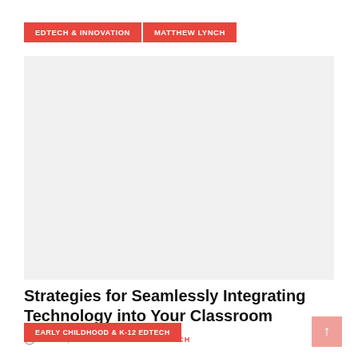EDTECH & INNOVATION | MATTHEW LYNCH
[Figure (photo): Article header image area, light gray placeholder for a photo related to classroom technology integration]
Strategies for Seamlessly Integrating Technology into Your Classroom
JULY 4, 2016 / BY MATTHEW LYNCH
EARLY CHILDHOOD & K-12 EDTECH